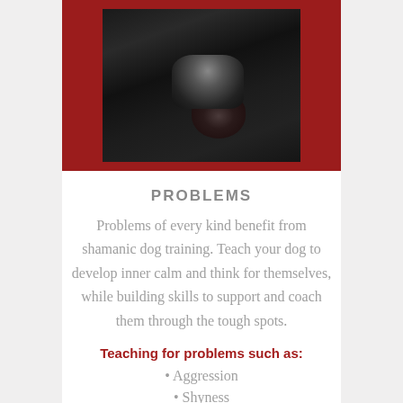[Figure (photo): Close-up photo of a dark/black dog's face against a dark background, displayed with a dark red/crimson border frame]
PROBLEMS
Problems of every kind benefit from shamanic dog training. Teach your dog to develop inner calm and think for themselves, while building skills to support and coach them through the tough spots.
Teaching for problems such as:
Aggression
Shyness